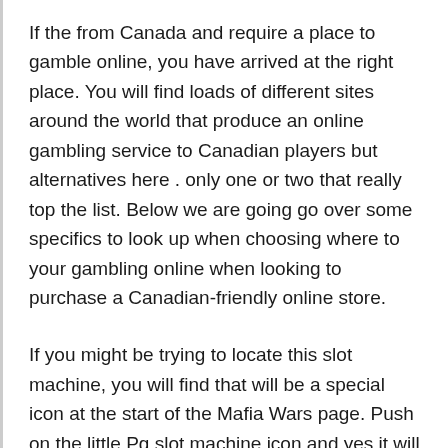If the from Canada and require a place to gamble online, you have arrived at the right place. You will find loads of different sites around the world that produce an online gambling service to Canadian players but alternatives here . only one or two that really top the list. Below we are going go over some specifics to look up when choosing where to your gambling online when looking to purchase a Canadian-friendly online store.
If you might be trying to locate this slot machine, you will find that will be a special icon at the start of the Mafia Wars page. Push on the little Pg slot machine icon and yes it will show a new window together with slot machine in that it. Then have some fun playing int the machine. After all,